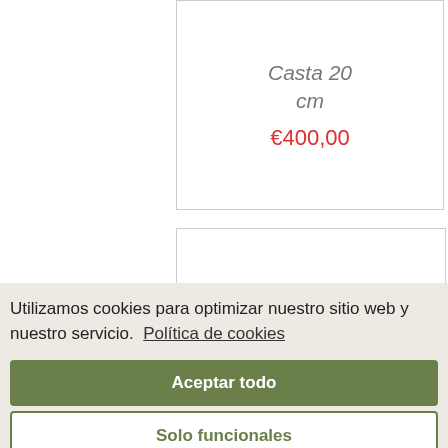Casta 20 cm
€400,00
Utilizamos cookies para optimizar nuestro sitio web y nuestro servicio.  Política de cookies
Aceptar todo
Solo funcionales
Ver preferencias